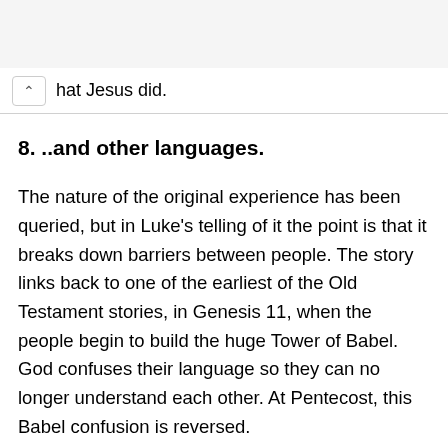hat Jesus did.
8. ..and other languages.
The nature of the original experience has been queried, but in Luke's telling of it the point is that it breaks down barriers between people. The story links back to one of the earliest of the Old Testament stories, in Genesis 11, when the people begin to build the huge Tower of Babel. God confuses their language so they can no longer understand each other. At Pentecost, this Babel confusion is reversed.